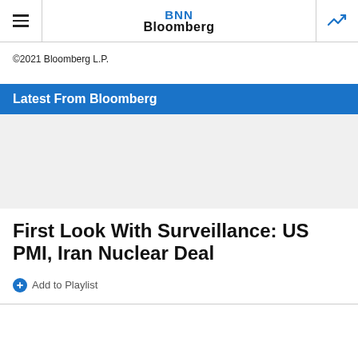BNN Bloomberg
©2021 Bloomberg L.P.
Latest From Bloomberg
[Figure (other): Video thumbnail area, blank/grey placeholder for a video player]
First Look With Surveillance: US PMI, Iran Nuclear Deal
Add to Playlist